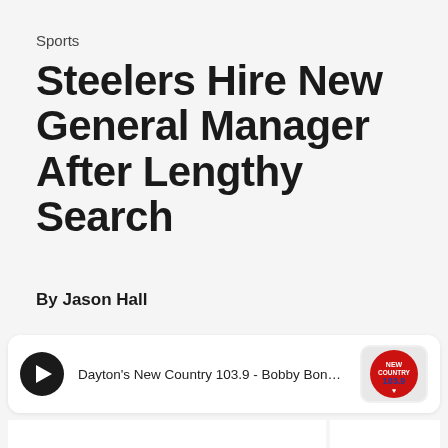Sports
Steelers Hire New General Manager After Lengthy Search
By Jason Hall
[Figure (other): Audio player widget showing Dayton's New Country 103.9 - Bobby Bones in the Morn... with a play button and station logo]